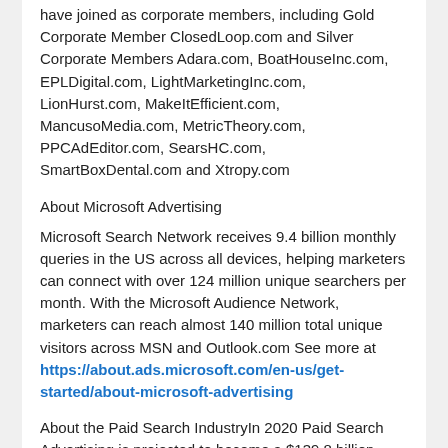have joined as corporate members, including Gold Corporate Member ClosedLoop.com and Silver Corporate Members Adara.com, BoatHouseInc.com, EPLDigital.com, LightMarketingInc.com, LionHurst.com, MakeItEfficient.com, MancusoMedia.com, MetricTheory.com, PPCAdEditor.com, SearsHC.com, SmartBoxDental.com and Xtropy.com
About Microsoft Advertising
Microsoft Search Network receives 9.4 billion monthly queries in the US across all devices, helping marketers can connect with over 124 million unique searchers per month. With the Microsoft Audience Network, marketers can reach almost 140 million total unique visitors across MSN and Outlook.com See more at https://about.ads.microsoft.com/en-us/get-started/about-microsoft-advertising
About the Paid Search IndustryIn 2020 Paid Search Advertising is projected to become a $139.8 billion industry this year, according to research by Statista, which projects yearly revenue of $162.69 billion by 2023.
About the Paid Search Association
The Paid Search Association is dedicated to advancing the paid search industry by encouraging communication, learning, collaboration, diversity and high ethical and business